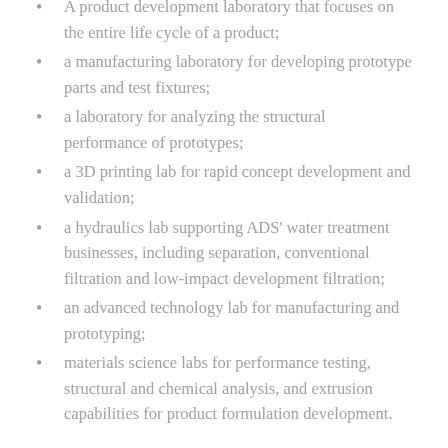A product development laboratory that focuses on the entire life cycle of a product;
a manufacturing laboratory for developing prototype parts and test fixtures;
a laboratory for analyzing the structural performance of prototypes;
a 3D printing lab for rapid concept development and validation;
a hydraulics lab supporting ADS' water treatment businesses, including separation, conventional filtration and low-impact development filtration;
an advanced technology lab for manufacturing and prototyping;
materials science labs for performance testing, structural and chemical analysis, and extrusion capabilities for product formulation development.
*These new, state-of-the-art labs will create innovations that preserve our environment, reduce plastic in our landfills and create high-demand jobs in